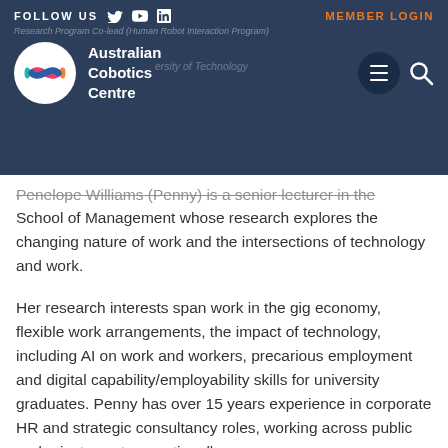FOLLOW US  [Twitter] [YouTube] [LinkedIn]  MEMBER LOGIN
[Figure (logo): Australian Cobotics Centre logo — circular white badge with colourful infinity/bowtie icon, next to text 'Australian Cobotics Centre' in white on dark navy background. Navigation bar also shows hamburger menu and search icon.]
Penelope Williams (Penny) is a senior lecturer in the School of Management whose research explores the changing nature of work and the intersections of technology and work.
Her research interests span work in the gig economy, flexible work arrangements, the impact of technology, including AI on work and workers, precarious employment and digital capability/employability skills for university graduates. Penny has over 15 years experience in corporate HR and strategic consultancy roles, working across public and private sectors, nationally